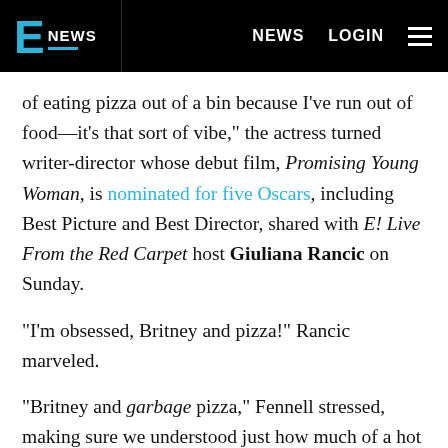E! NEWS | NEWS | LOGIN
of eating pizza out of a bin because I've run out of food—it's that sort of vibe," the actress turned writer-director whose debut film, Promising Young Woman, is nominated for five Oscars, including Best Picture and Best Director, shared with E! Live From the Red Carpet host Giuliana Rancic on Sunday.
"I'm obsessed, Britney and pizza!" Rancic marveled.
"Britney and garbage pizza," Fennell stressed, making sure we understood just how much of a hot mess she might turn into when the muses call.
But the unforgettable use of an eerie instrumental